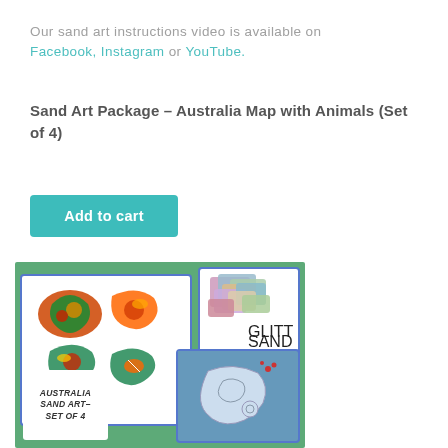Our sand art instructions video is available on Facebook, Instagram or YouTube.
Sand Art Package – Australia Map with Animals (Set of 4)
Add to cart
[Figure (photo): Product photo showing Australia sand art set of 4: a white card with four colourful Australia-shaped sand art pieces, a card with glitter sand packets labelled 'GLITTER SAND', a blue card with an outline Australia map for colouring, and a white label reading 'AUSTRALIA SAND ART– SET OF 4'. All arranged on a green background.]